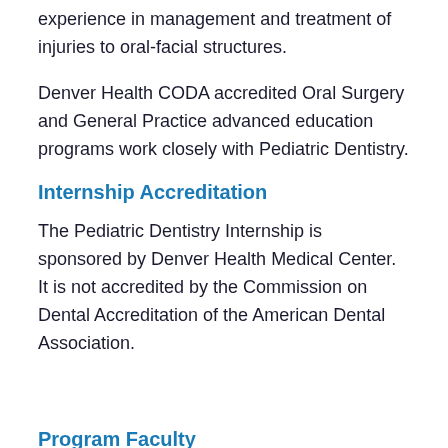experience in management and treatment of injuries to oral-facial structures.
Denver Health CODA accredited Oral Surgery and General Practice advanced education programs work closely with Pediatric Dentistry.
Internship Accreditation
The Pediatric Dentistry Internship is sponsored by Denver Health Medical Center.  It is not accredited by the Commission on Dental Accreditation of the American Dental Association.
Program Faculty
Jeffrey Young, DDS, Program Director, Pediatric